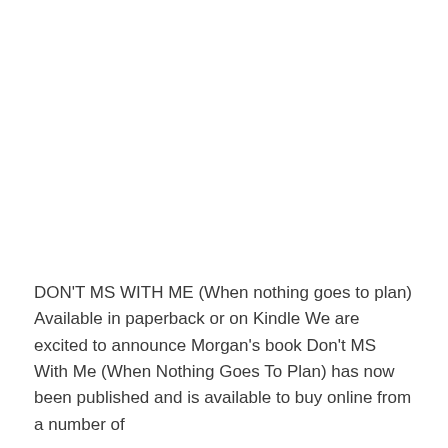DON'T MS WITH ME (When nothing goes to plan) Available in paperback or on Kindle We are excited to announce Morgan's book Don't MS With Me (When Nothing Goes To Plan) has now been published and is available to buy online from a number of